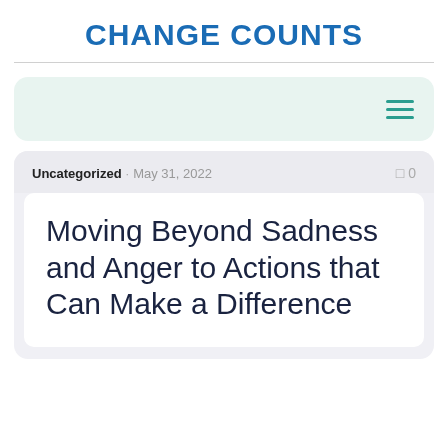CHANGE COUNTS
Uncategorized · May 31, 2022   0
Moving Beyond Sadness and Anger to Actions that Can Make a Difference